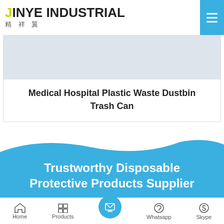JINYE INDUSTRIAL 精祥翼
[Figure (photo): Product image placeholder - light grey rectangle]
Medical Hospital Plastic Waste Dustbin Trash Can
Trustworthy Disposable Protective Products Supplier
Home | Products | [Contact] | Whatsapp | Skype